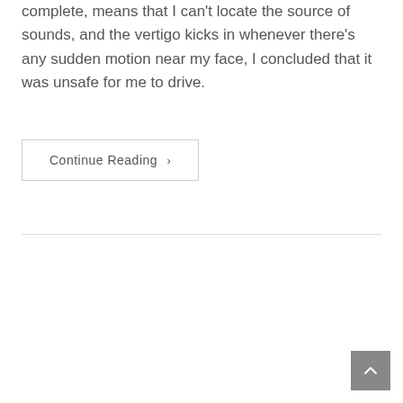complete, means that I can't locate the source of sounds, and the vertigo kicks in whenever there's any sudden motion near my face, I concluded that it was unsafe for me to drive.
Continue Reading ›